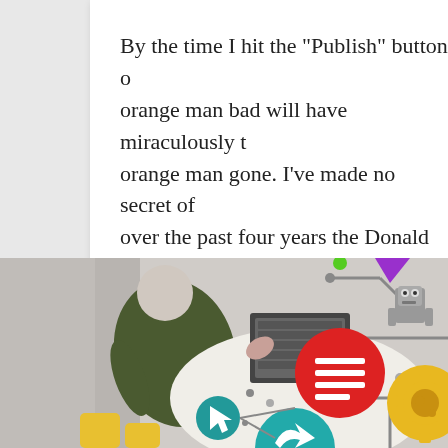By the time I hit the "Publish" button on this post, orange man bad will have miraculously turned to orange man gone. I've made no secret of the fact that over the past four years the Donald Trump is a man uniquely unsuited to the presidency... Man bad before election day An egotistical narcissist, Trump [...]
Read More
[Figure (photo): Overhead view of people working at a table with a technology/robotics infographic overlay showing colorful icons, circuits, a robot, gears, and chat bubbles]